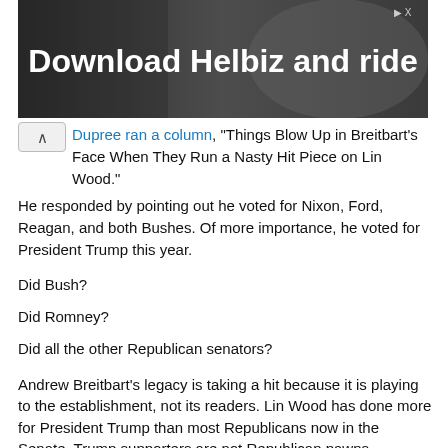[Figure (photo): Advertisement banner with dark background showing 'Download Helbiz and ride' text with a close button in the top right corner]
Dupree ran a column, "Things Blow Up in Breitbart's Face When They Run a Nasty Hit Piece on Lin Wood."
He responded by pointing out he voted for Nixon, Ford, Reagan, and both Bushes. Of more importance, he voted for President Trump this year.
Did Bush?
Did Romney?
Did all the other Republican senators?
Andrew Breitbart's legacy is taking a hit because it is playing to the establishment, not its readers. Lin Wood has done more for President Trump than most Republicans now in the Senate. Trump supporters are not Republican pawns.